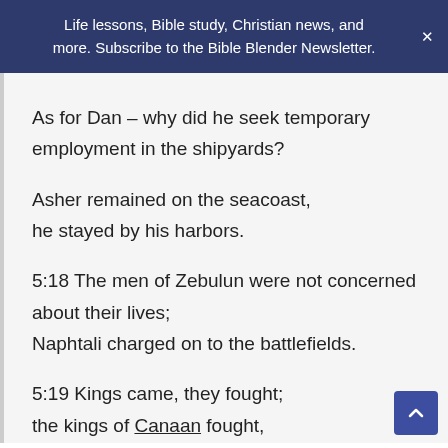Life lessons, Bible study, Christian news, and more. Subscribe to the Bible Blender Newsletter.
As for Dan – why did he seek temporary employment in the shipyards? Asher remained on the seacoast, he stayed by his harbors. 5:18 The men of Zebulun were not concerned about their lives; Naphtali charged on to the battlefields. 5:19 Kings came, they fought; the kings of Canaan fought, at Taanach by the waters of Megiddo, but they took no silver as plunder. 5:20 From the sky the stars fought,